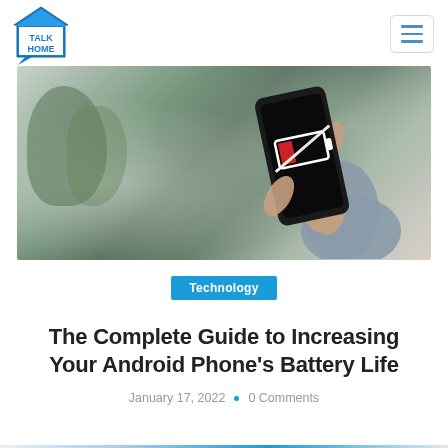Talk Home logo and navigation
[Figure (photo): Person holding a smartphone displaying a red low battery icon against a blurry outdoor background with trees and fog]
Technology
The Complete Guide to Increasing Your Android Phone's Battery Life
January 17, 2022  •  0 Comments